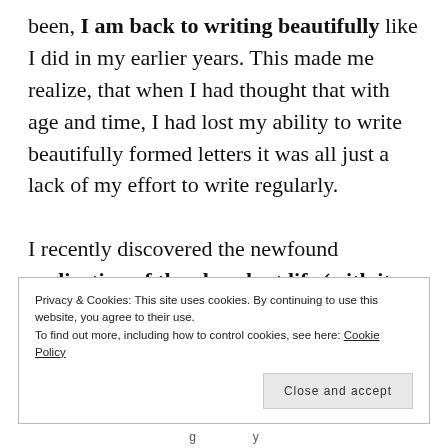been, I am back to writing beautifully like I did in my earlier years. This made me realize, that when I had thought that with age and time, I had lost my ability to write beautifully formed letters it was all just a lack of my effort to write regularly.

I recently discovered the newfound realization of the abundant life (with its due inadequacies) I lead. Gratitude has
Privacy & Cookies: This site uses cookies. By continuing to use this website, you agree to their use.
To find out more, including how to control cookies, see here: Cookie Policy
Close and accept